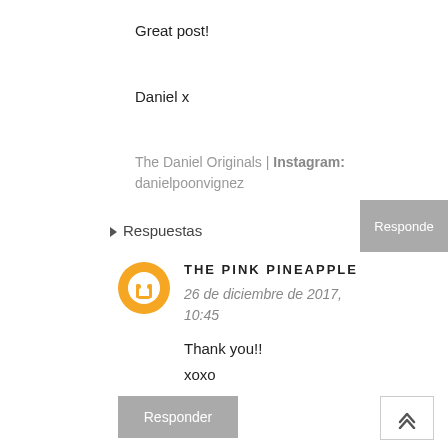Great post!
Daniel x
The Daniel Originals | Instagram: danielpoonvignez
Responder
Respuestas
THE PINK PINEAPPLE
26 de diciembre de 2017, 10:45
Thank you!!
xoxo
Responder